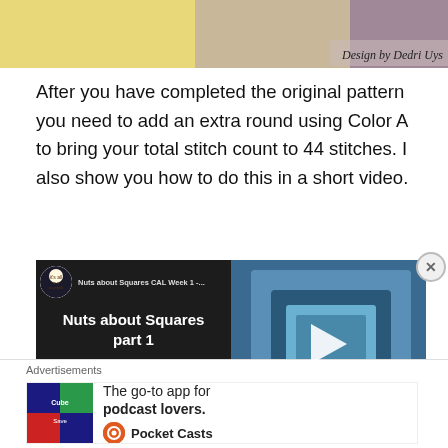[Figure (photo): Top banner image showing crochet/craft design with text 'Design by Dedri Uys' in italic script on right side]
After you have completed the original pattern you need to add an extra round using Color A to bring your total stitch count to 44 stitches. I also show you how to do this in a short video.
[Figure (screenshot): Video thumbnail for 'Nuts about Squares CAL Week 1 - Nuts about Squares part 1' showing crochet squares on right side, logo and title on dark left side, play button overlay in center]
[Figure (photo): Advertisement banner: The go-to app for podcast lovers - Pocket Casts]